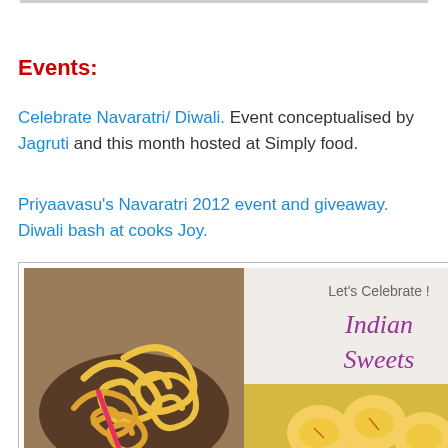Events:
Celebrate Navaratri/ Diwali. Event conceptualised by Jagruti and this month hosted at Simply food.
Priyaavasu's Navaratri 2012 event and giveaway.
Diwali bash at cooks Joy.
[Figure (photo): A card with Indian sweets: bowl of jalebi on the left, text 'Let's Celebrate! Indian Sweets' in the center, and yellow round sweets/pedas on the lower right.]
Come Celebrate Indian sweets at UK rasoi.
[Figure (photo): Second event banner with green/yellow background and text 'Second Event']